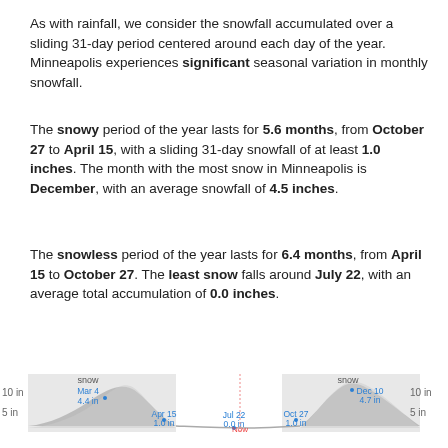As with rainfall, we consider the snowfall accumulated over a sliding 31-day period centered around each day of the year. Minneapolis experiences significant seasonal variation in monthly snowfall.
The snowy period of the year lasts for 5.6 months, from October 27 to April 15, with a sliding 31-day snowfall of at least 1.0 inches. The month with the most snow in Minneapolis is December, with an average snowfall of 4.5 inches.
The snowless period of the year lasts for 6.4 months, from April 15 to October 27. The least snow falls around July 22, with an average total accumulation of 0.0 inches.
[Figure (area-chart): Area chart showing average monthly snowfall in Minneapolis. Two snow bands (shaded areas) appear in winter months. Left band labeled 'snow' near Mar 4 (4.4 in) and Apr 15 (1.0 in). Right band labeled 'snow' near Dec 10 (4.7 in) and Oct 27 (1.0 in). Jul 22 shows 0.0 in. Y-axis labels 5 in and 10 in on both sides. History links for 2022, 2021, 2020, 2019, 2018, 2017, 2016, 2015, 201...]